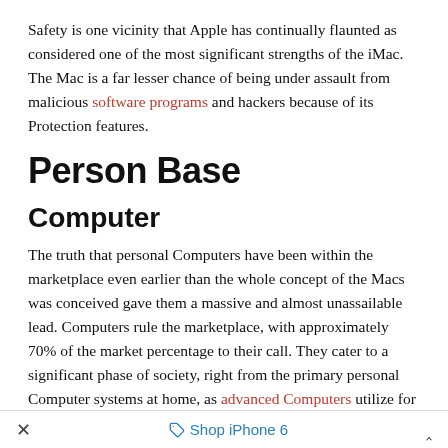Safety is one vicinity that Apple has continually flaunted as considered one of the most significant strengths of the iMac. The Mac is a far lesser chance of being under assault from malicious software programs and hackers because of its Protection features.
Person Base
Computer
The truth that personal Computers have been within the marketplace even earlier than the whole concept of the Macs was conceived gave them a massive and almost unassailable lead. Computers rule the marketplace, with approximately 70% of the market percentage to their call. They cater to a significant phase of society, right from the primary personal Computer systems at home, as advanced Computers utilize for programming and data processing.
× Shop iPhone 6 ^